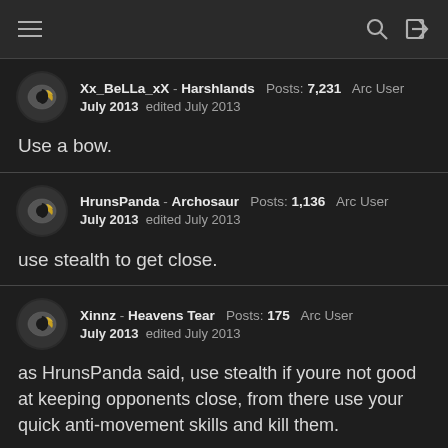Navigation header with menu, search, and login icons
Xx_BeLLa_xX - Harshlands  Posts: 7,231  Arc User
July 2013  edited July 2013
Use a bow.
HrunsPanda - Archosaur  Posts: 1,136  Arc User
July 2013  edited July 2013
use stealth to get close.
Xinnz - Heavens Tear  Posts: 175  Arc User
July 2013  edited July 2013
as HrunsPanda said, use stealth if youre not good at keeping opponents close, from there use your quick anti-movement skills and kill them.